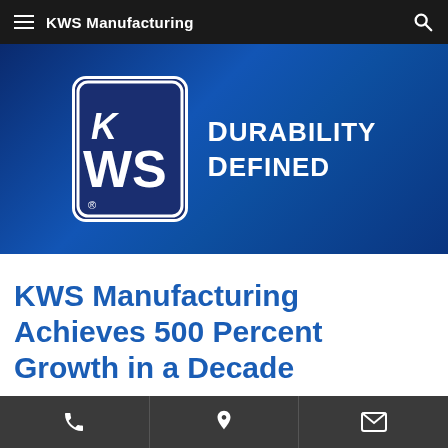KWS Manufacturing
[Figure (logo): KWS Manufacturing logo — dark blue rounded rectangle with KWS letters in white, with registered trademark symbol, alongside tagline DURABILITY DEFINED in white bold uppercase text on blue gradient background]
KWS Manufacturing Achieves 500 Percent Growth in a Decade
Phone | Location | Email contact bar